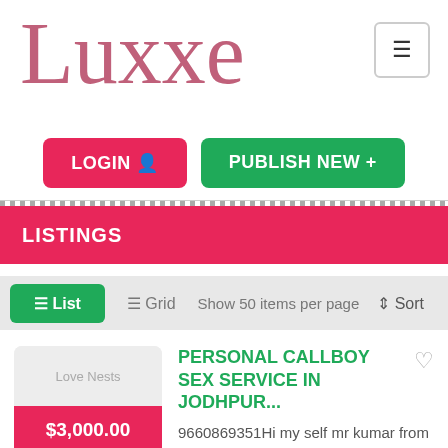Luxxe
LOGIN   PUBLISH NEW +
LISTINGS
☰ List   ≡ Grid   Show 50 items per page   ↓ Sort
PERSONAL CALLBOY SEX SERVICE IN JODHPUR...
Love Nests
$3,000.00
9660869351Hi my self mr kumar from jodhpur,i am independent gigolo and male escort for only girls and females housewife